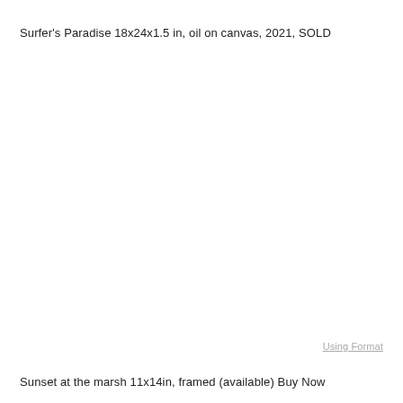Surfer's Paradise 18x24x1.5 in, oil on canvas, 2021, SOLD
Using Format
Sunset at the marsh 11x14in, framed (available) Buy Now